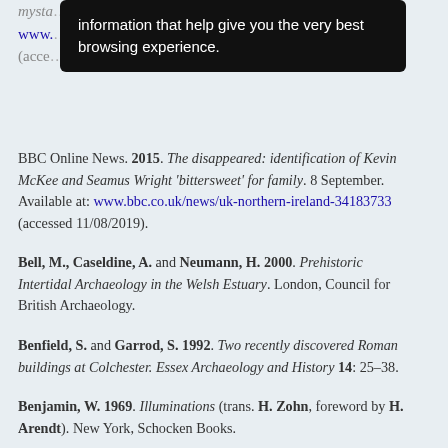mysta... www.... (acce...
[Figure (screenshot): Black tooltip/overlay box with white text: 'information that help give you the very best browsing experience.']
BBC Online News. 2015. The disappeared: identification of Kevin McKee and Seamus Wright 'bittersweet' for family. 8 September. Available at: www.bbc.co.uk/news/uk-northern-ireland-34183733 (accessed 11/08/2019).
Bell, M., Caseldine, A. and Neumann, H. 2000. Prehistoric Intertidal Archaeology in the Welsh Estuary. London, Council for British Archaeology.
Benfield, S. and Garrod, S. 1992. Two recently discovered Roman buildings at Colchester. Essex Archaeology and History 14: 25–38.
Benjamin, W. 1969. Illuminations (trans. H. Zohn, foreword by H. Arendt). New York, Schocken Books.
Bennett, J. 2010. Vibrant Matter: A Political Ecology of Things. London, Duke University